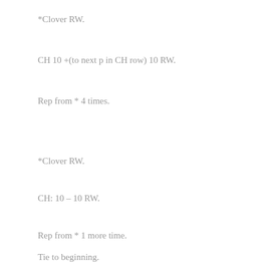*Clover RW.
CH 10 +(to next p in CH row) 10 RW.
Rep from * 4 times.
*Clover RW.
CH: 10 – 10 RW.
Rep from * 1 more time.
Tie to beginning.